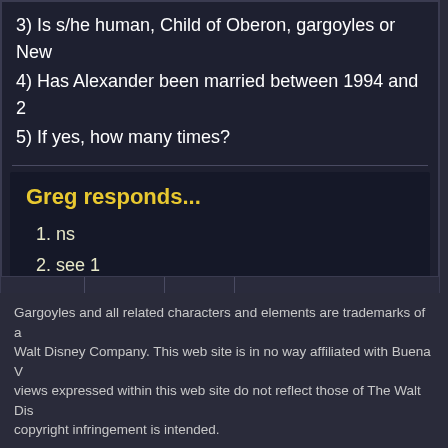3) Is s/he human, Child of Oberon, gargoyles or New...
4) Has Alexander been married between 1994 and 2...
5) If yes, how many times?
Greg responds...
1. ns
2. see 1
3. see 1
4. ns
5. see 4
« First  « 100  « 10  Displaying #113 - #122 of 268 r...
Gargoyles and all related characters and elements are trademarks of a... Walt Disney Company. This web site is in no way affiliated with Buena V... views expressed within this web site do not reflect those of The Walt Dis... copyright infringement is intended.